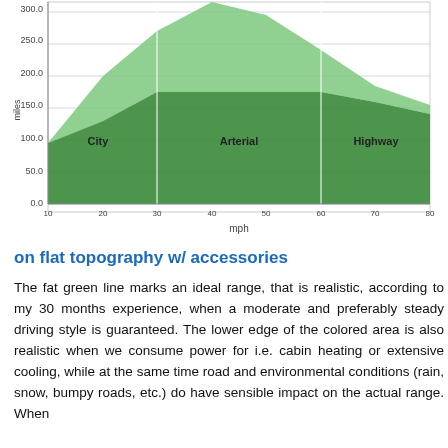[Figure (area-chart): Area chart showing range in miles vs speed in mph. Three zones labeled City, Arterial, Highway. Upper bound peaks around 300+ miles at ~40 mph then decreases to ~150 at 80 mph. Lower bound starts ~95 at 10 mph, rises to ~175 at 30 mph, then decreases to ~140 at 80 mph. Light green upper area, dark green lower area.]
on flat topography w/ accessories
The fat green line marks an ideal range, that is realistic, according to my 30 months experience, when a moderate and preferably steady driving style is guaranteed. The lower edge of the colored area is also realistic when we consume power for i.e. cabin heating or extensive cooling, while at the same time road and environmental conditions (rain, snow, bumpy roads, etc.) do have sensible impact on the actual range. When